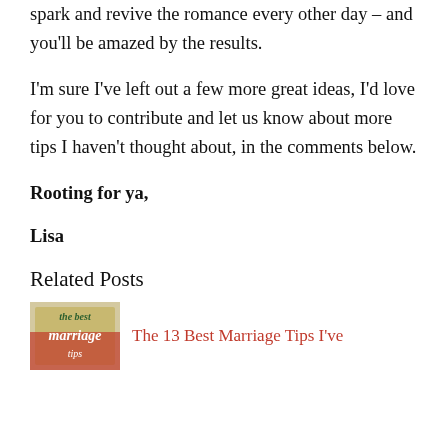spark and revive the romance every other day – and you'll be amazed by the results.
I'm sure I've left out a few more great ideas, I'd love for you to contribute and let us know about more tips I haven't thought about, in the comments below.
Rooting for ya,
Lisa
Related Posts
[Figure (photo): Thumbnail image for related post: The 13 Best Marriage Tips I've]
The 13 Best Marriage Tips I've